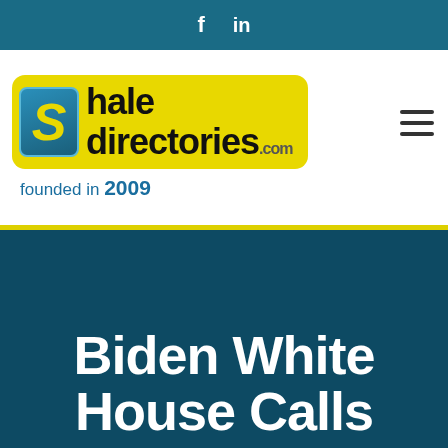f  in
[Figure (logo): Shale Directories .com logo with yellow badge background and blue S icon, 'founded in 2009' subtitle]
Biden White House Calls...